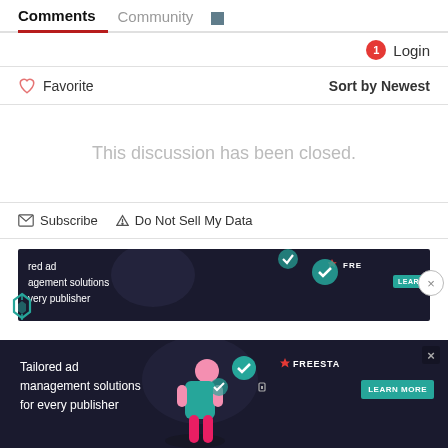Comments | Community
1 Login
♡ Favorite   Sort by Newest
This discussion has been closed.
✉ Subscribe  ⚠ Do Not Sell My Data
[Figure (screenshot): Freestar ad banner: Tailored ad management solutions for every publisher, with LEARN MORE button]
[Figure (screenshot): Freestar ad banner (bottom): Tailored ad management solutions for every publisher, with LEARN MORE button and close X]